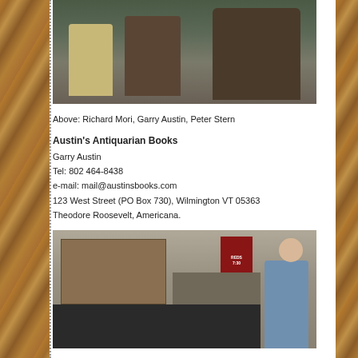[Figure (photo): Three people seated in an indoor setting, one wearing a blue and red sash/ribbon. Appears to be an event or gathering.]
Above: Richard Mori, Garry Austin, Peter Stern
Austin's Antiquarian Books
Garry Austin
Tel: 802 464-8438
e-mail: mail@austinsbooks.com
123 West Street (PO Box 730), Wilmington VT 05363
Theodore Roosevelt, Americana.
[Figure (photo): A book fair booth with shelves of books, framed pictures, and a person standing by the display table. A red Cincinnati Reds sign is visible in the background.]